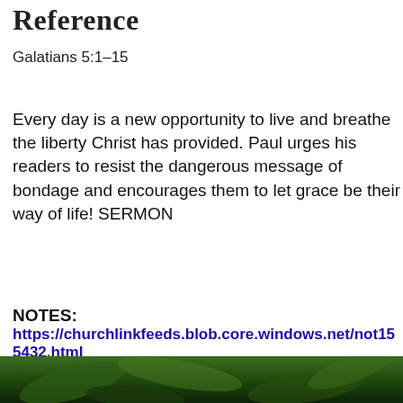Reference
Galatians 5:1–15
Every day is a new opportunity to live and breathe the liberty Christ has provided. Paul urges his readers to resist the dangerous message of bondage and encourages them to let grace be their way of life! SERMON
NOTES:
https://churchlinkfeeds.blob.core.windows.net/not155432.html
[Figure (photo): Dark green leafy background photo strip at bottom of page]